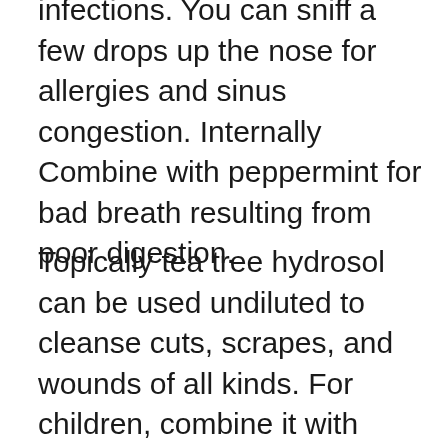infections. You can sniff a few drops up the nose for allergies and sinus congestion. Internally Combine with peppermint for bad breath resulting from poor digestion.
Topically tea tree hydrosol can be used undiluted to cleanse cuts, scrapes, and wounds of all kinds. For children, combine it with lavender and keep it on hand for all the boo-boos. Skin infections of all kinds react positively to tea tree; use as a strong as you can and use clean cotton wool balls to